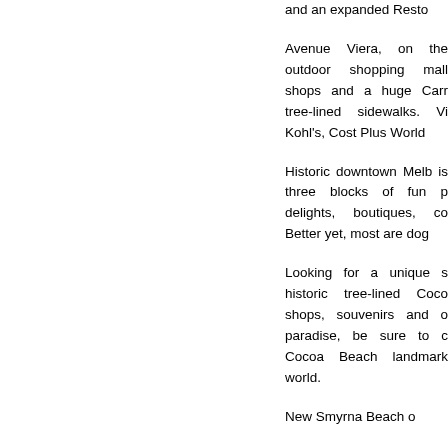and an expanded Resto
Avenue Viera, on the outdoor shopping mall shops and a huge Carr tree-lined sidewalks. Vi Kohl's, Cost Plus World
Historic downtown Melb is three blocks of fun p delights, boutiques, co Better yet, most are dog
Looking for a unique s historic tree-lined Coco shops, souvenirs and o paradise, be sure to c Cocoa Beach landmark world.
New Smyrna Beach o